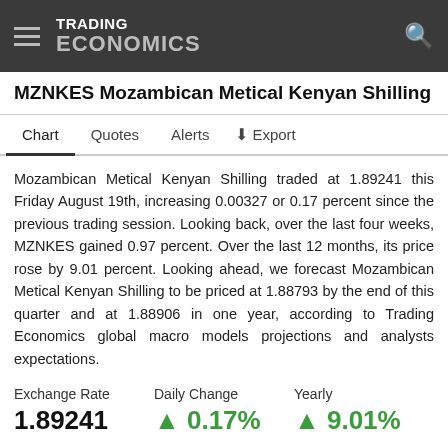TRADING ECONOMICS
MZNKES Mozambican Metical Kenyan Shilling
Chart  Quotes  Alerts  Export
Mozambican Metical Kenyan Shilling traded at 1.89241 this Friday August 19th, increasing 0.00327 or 0.17 percent since the previous trading session. Looking back, over the last four weeks, MZNKES gained 0.97 percent. Over the last 12 months, its price rose by 9.01 percent. Looking ahead, we forecast Mozambican Metical Kenyan Shilling to be priced at 1.88793 by the end of this quarter and at 1.88906 in one year, according to Trading Economics global macro models projections and analysts expectations.
| Exchange Rate | Daily Change | Yearly |
| --- | --- | --- |
| 1.89241 | ▲ 0.17% | ▲ 9.01% |